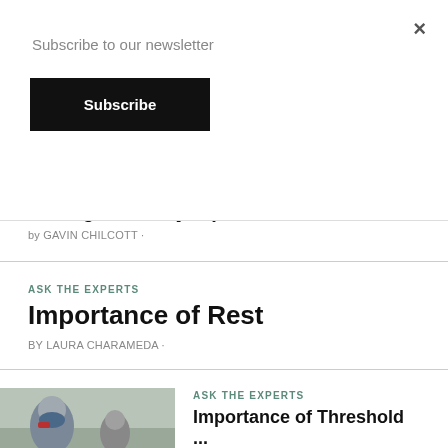Subscribe to our newsletter
Subscribe
×
What goes in my repair kit?
by GAVIN CHILCOTT ·
ASK THE EXPERTS
Importance of Rest
by LAURA CHARAMEDA ·
ASK THE EXPERTS
[Figure (photo): Photo of a person wearing a blue face mask outdoors, with another person in background]
Importance of Threshold ...